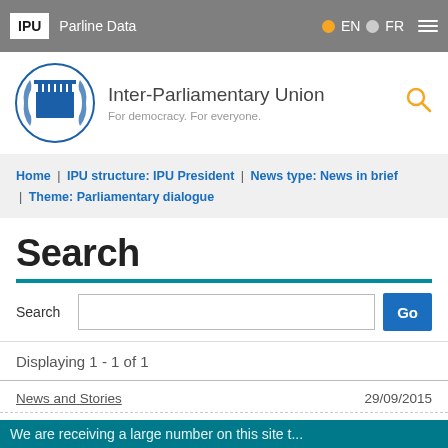IPU | Parline Data | EN | FR
[Figure (logo): Inter-Parliamentary Union logo with wreath and parliament building, year 1889]
Inter-Parliamentary Union
For democracy. For everyone.
Home | IPU structure: IPU President | News type: News in brief | Theme: Parliamentary dialogue
Search
Search [input field] Go
Displaying 1 - 1 of 1
News and Stories   29/09/2015
We are receiving a large number on this site to...